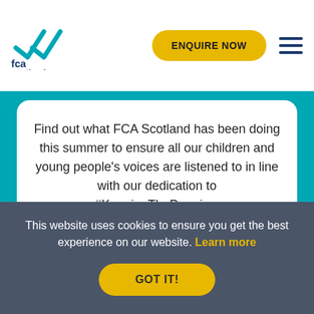[Figure (logo): FCA Scotland logo with stylized checkmark and text 'fca scotland']
Find out what FCA Scotland has been doing this summer to ensure all our children and young people's voices are listened to in line with our dedication to #KeepingThePromise.
FIND OUT MORE
May 27 2022
This website uses cookies to ensure you get the best experience on our website. Learn more
GOT IT!